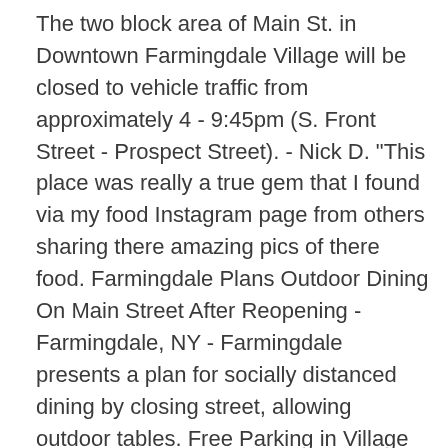The two block area of Main St. in Downtown Farmingdale Village will be closed to vehicle traffic from approximately 4 - 9:45pm (S. Front Street - Prospect Street). - Nick D. "This place was really a true gem that I found via my food Instagram page from others sharing there amazing pics of there food. Farmingdale Plans Outdoor Dining On Main Street After Reopening - Farmingdale, NY - Farmingdale presents a plan for socially distanced dining by closing street, allowing outdoor tables. Free Parking in Village Lots, the LIRR parking lot after 4pm, the Municipal lot on Cherry Street (Howitt Middle School), along streets where permitted, please be courteous of neighbors This home was built in 1867 and last sold on 7/13/2020 for $361,000. - Michele Holloran. Moby Drugs. ft. single-family home is a 3 bed, 2.0 bath property. Main Street Pizza Company 302 Main Street Farmingdale, NY 11735